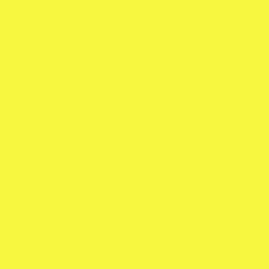[Figure (other): Yellow background panel on the left side of the page]
Coronao Now (Remix) (Vin Diesel / Sech / El Alfa / Myke Towers / Lil Pump)
Cuaderno (Dalex / Nicky Jam / Justin Quiles feat. Lenny Tavárez / Feid / Rafa Pabön)
Dame Break (Darell & Sech)
Definitivamente (Daddy Yankee / Sech)
El favor (Dimelo Flow / Sech / Farruko / Nicky Jam / Zion / Lunay)
Elegí (Remix) (Lenny Tavarez x Rauw Alejandro x x Dimelo Flow x Sech x Anuel AA x Farruko x Justin Quiles)
Fabuloso (Sech feat. Justin Quiles)
Ignorantes (Bad Bunny x Sech)
Ignorantes (Bad Bunny & Sech)
Instinto natural (Maluma feat. Sech)
La luz (Sech & J Balvin)
La tóxica (Remix) (Farruko / Sech / Myke Towers / Wheeler / Tempo)
Llueve (Wisin & Yandel / Sech / Jhay Cortez)
Mejor (Dalex & Sech)
Noche de teteo
Order by year
Add a song
ALBUMS BY SECH
1 Of 1
42
Add an album